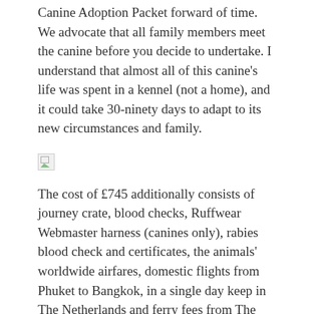Canine Adoption Packet forward of time. We advocate that all family members meet the canine before you decide to undertake. I understand that almost all of this canine's life was spent in a kennel (not a home), and it could take 30-ninety days to adapt to its new circumstances and family.
[Figure (illustration): Broken/missing image placeholder icon (small square with image icon)]
The cost of £745 additionally consists of journey crate, blood checks, Ruffwear Webmaster harness (canines only), rabies blood check and certificates, the animals' worldwide airfares, domestic flights from Phuket to Bangkok, in a single day keep in The Netherlands and ferry fees from The Netherlands to the UK. Not all dogs are appropriate for all homes. Dogs In Danger Rescue (we are not ) is our rescue originally based in